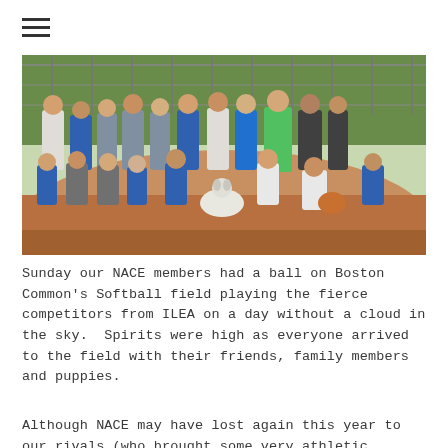[Figure (photo): Group photo of NACE members and competitors posing on a softball field dirt infield. People are kneeling and standing in rows, wearing blue and gray jerseys. A white dog is sitting in the center front of the group. Green grass and a chain-link fence are visible in the background.]
Sunday our NACE members had a ball on Boston Common's Softball field playing the fierce competitors from ILEA on a day without a cloud in the sky.  Spirits were high as everyone arrived to the field with their friends, family members and puppies.
Although NACE may have lost again this year to our rivals (who brought some very athletic